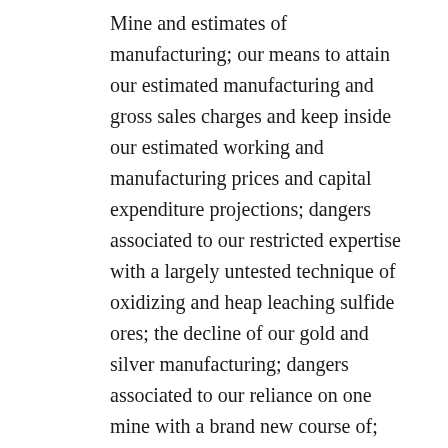Mine and estimates of manufacturing; our means to attain our estimated manufacturing and gross sales charges and keep inside our estimated working and manufacturing prices and capital expenditure projections; dangers associated to our restricted expertise with a largely untested technique of oxidizing and heap leaching sulfide ores; the decline of our gold and silver manufacturing; dangers associated to our reliance on one mine with a brand new course of; uncertainties and dangers associated to our reliance on contractors and consultants; uncertainties associated to our means to interchange and increase our ore reserves; the prices associated to our land reclamation necessities; availability and value of kit, provides, vitality, or commodities; the business success of, and base on a line service in our current activities